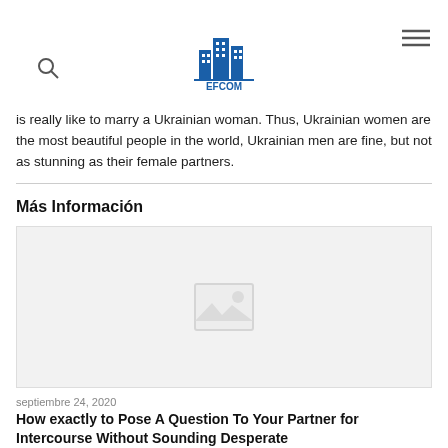EFCOM
is really like to marry a Ukrainian woman. Thus, Ukrainian women are the most beautiful people in the world, Ukrainian men are fine, but not as stunning as their female partners.
Más Información
[Figure (photo): Image placeholder with mountain/photo icon on light grey background]
septiembre 24, 2020
How exactly to Pose A Question To Your Partner for Intercourse Without Sounding Desperate